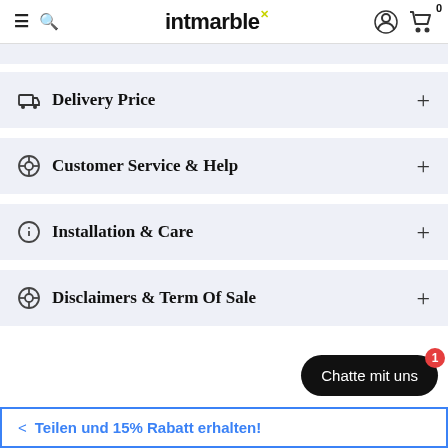intmarble — navigation header with hamburger menu, search, logo, user icon, cart (0)
Delivery Price
Customer Service & Help
Installation & Care
Disclaimers & Term Of Sale
Chatte mit uns
< Teilen und 15% Rabatt erhalten!